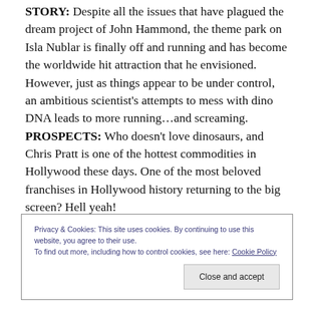STORY: Despite all the issues that have plagued the dream project of John Hammond, the theme park on Isla Nublar is finally off and running and has become the worldwide hit attraction that he envisioned. However, just as things appear to be under control, an ambitious scientist's attempts to mess with dino DNA leads to more running…and screaming. PROSPECTS: Who doesn't love dinosaurs, and Chris Pratt is one of the hottest commodities in Hollywood these days. One of the most beloved franchises in Hollywood history returning to the big screen? Hell yeah!
Privacy & Cookies: This site uses cookies. By continuing to use this website, you agree to their use. To find out more, including how to control cookies, see here: Cookie Policy